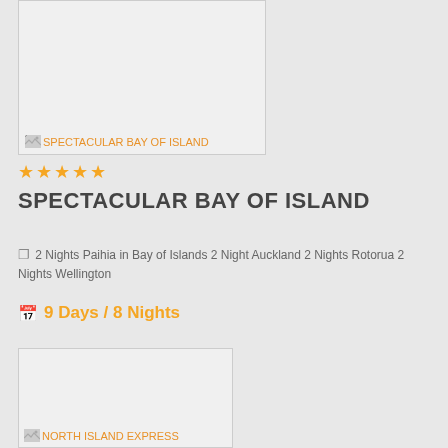[Figure (photo): Travel package image placeholder for Spectacular Bay of Island]
★★★★★
SPECTACULAR BAY OF ISLAND
2 Nights Paihia in Bay of Islands 2 Night Auckland 2 Nights Rotorua 2 Nights Wellington
9 Days / 8 Nights
[Figure (photo): Travel package image placeholder for North Island Express]